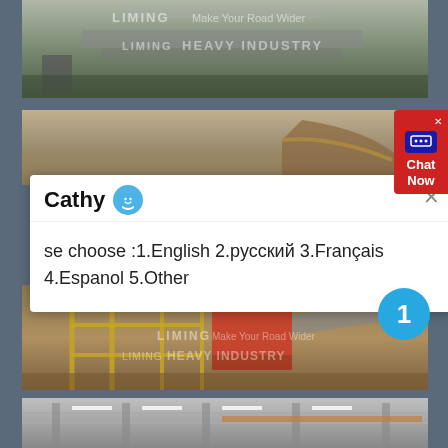[Figure (photo): Industrial machinery/equipment with watermark 'LIMING Make Your Road Wider LIMING HEAVY INDUSTRY' - top image showing metal fabrication or conveyor equipment with worker]
[Figure (photo): Partial view of conveyor belt machinery - middle strip image partially obscured by chat dialog]
Cathy
se choose :1.English 2.русский 3.Français 4.Espanol 5.Other
[Figure (photo): Large industrial plant with yellow scaffolding/conveyor structure, red machinery, watermark 'LIMING Make Your Road Wider LIMING HEAVY INDUSTRY']
[Figure (photo): Interior of industrial facility/factory showing overhead cranes and conveyor systems]